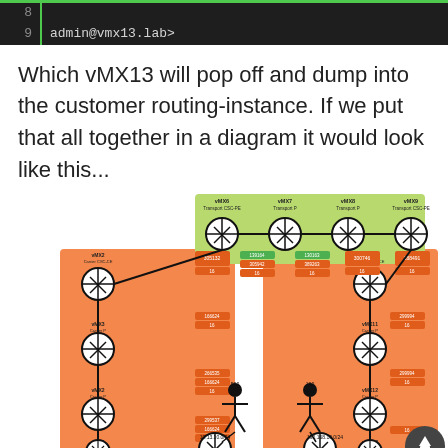8
9    admin@vmx13.lab>
Which vMX13 will pop off and dump into the customer routing-instance. If we put that all together in a diagram it would look like this...
[Figure (network-graph): Network topology diagram showing vMX routers in a carrier-of-carriers architecture. Top green band shows transport layer: vMX6 Transport CSC-PE, vMX7 Transport P, vMX8 Transport P, vMX9 Transport CSC-PE. Left and right orange bands show carrier routers: vMX2/vMX3/vMX2/vMX2 Carrier CSC-CE, Carrier P nodes on left; vMX10/vMX11/vMX12/vMX13 on right. Bottom shows vMX1 Customer CE and vMX14 Customer CE with customer figures and IP addresses 10.13.10.0/24 and 192.168.10.0/24.]